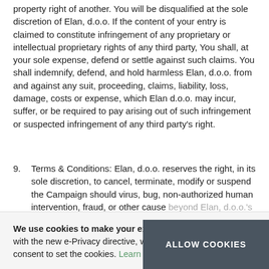property right of another. You will be disqualified at the sole discretion of Elan, d.o.o. If the content of your entry is claimed to constitute infringement of any proprietary or intellectual proprietary rights of any third party, You shall, at your sole expense, defend or settle against such claims. You shall indemnify, defend, and hold harmless Elan, d.o.o. from and against any suit, proceeding, claims, liability, loss, damage, costs or expense, which Elan d.o.o. may incur, suffer, or be required to pay arising out of such infringement or suspected infringement of any third party's right.
9. Terms & Conditions: Elan, d.o.o. reserves the right, in its sole discretion, to cancel, terminate, modify or suspend the Campaign should virus, bug, non-authorized human intervention, fraud, or other cause beyond Elan, d.o.o.'s control corrupt or affect the integrity or proper functioning of the Campaign. Subject of such cancellation, Elan, d.o.o. shall conduct a drawing from among all eligible entries received prior to and/or after (if appropriate) the action taken by Elan, d.o.o. Elan, d.o.o. reserves the right, in its sole discretion, to disqualify anyone from this Campaign.
We use cookies to make your experience better. To comply with the new e-Privacy directive, we need to ask for your consent to set the cookies. Learn more.